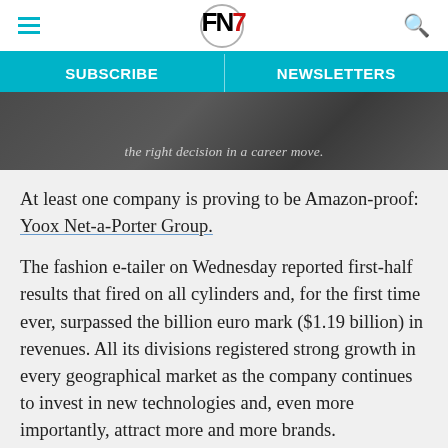FN7 [logo] — hamburger menu and search icon
SUBSCRIBE | NEWSLETTERS
[Figure (photo): Partial hero image showing dark objects on a surface, with italic overlay text reading: the right decision in a career move.]
At least one company is proving to be Amazon-proof: Yoox Net-a-Porter Group.
The fashion e-tailer on Wednesday reported first-half results that fired on all cylinders and, for the first time ever, surpassed the billion euro mark ($1.19 billion) in revenues. All its divisions registered strong growth in every geographical market as the company continues to invest in new technologies and, even more importantly, attract more and more brands.
Lifted by growth in all its business divisions and geographic markets, driven in particular by North